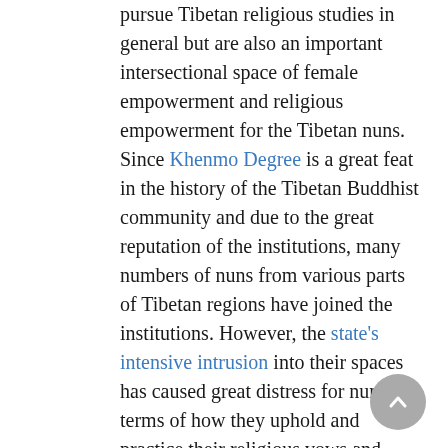pursue Tibetan religious studies in general but are also an important intersectional space of female empowerment and religious empowerment for the Tibetan nuns. Since Khenmo Degree is a great feat in the history of the Tibetan Buddhist community and due to the great reputation of the institutions, many numbers of nuns from various parts of Tibetan regions have joined the institutions. However, the state's intensive intrusion into their spaces has caused great distress for nuns, in terms of how they uphold and practice their religious vows and advance their studies.
Moreover, there have been waves of eviction of nuns and demolition of nuns' quarters in Larung Gar and Yachen Gar in 2001 and the Xi